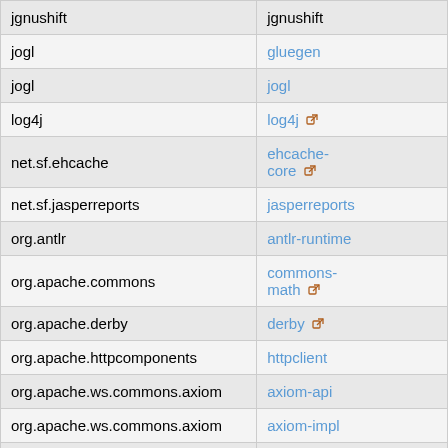| Group/Artifact (left col) | Artifact (right col) |
| --- | --- |
| jgnushift | jgnushift |
| jogl | gluegen |
| jogl | jogl |
| log4j | log4j |
| net.sf.ehcache | ehcache-core |
| net.sf.jasperreports | jasperreports |
| org.antlr | antlr-runtime |
| org.apache.commons | commons-math |
| org.apache.derby | derby |
| org.apache.httpcomponents | httpclient |
| org.apache.ws.commons.axiom | axiom-api |
| org.apache.ws.commons.axiom | axiom-impl |
| org.codehaus.jettison | jettison |
| org.codehaus.woodstox | woodstox-lgpl |
| org.deegree | deegree |